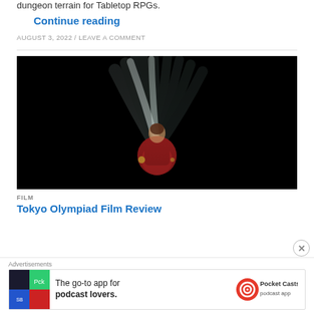dungeon terrain for Tabletop RPGs.
Continue reading
AUGUST 3, 2022 / LEAVE A COMMENT
[Figure (photo): A person in a red outfit performing a gymnastics or dance move against a black background, with motion blur showing multiple arm positions like a fan.]
FILM
Tokyo Olympiad Film Review
Advertisements
[Figure (other): Pocket Casts advertisement banner: 'The go-to app for podcast lovers.' with Pocket Casts logo.]